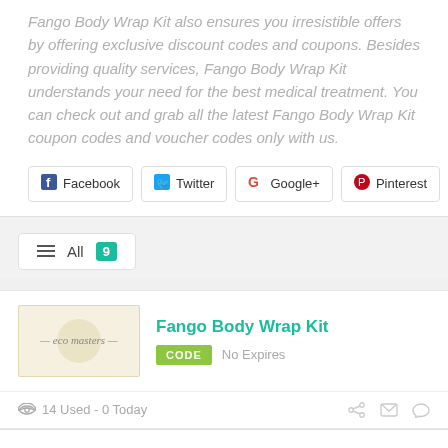Fango Body Wrap Kit also ensures you irresistible offers by offering exclusive discount codes and coupons. Besides providing quality services, Fango Body Wrap Kit understands your need for the best medical treatment. You can check out and grab all the latest Fango Body Wrap Kit coupon codes and voucher codes only with us.
[Figure (infographic): Social share buttons: Facebook, Twitter, Google+, Pinterest]
[Figure (infographic): Filter bar with hamburger icon, All label and count badge showing 9]
[Figure (infographic): Coupon card for Fango Body Wrap Kit with eco masters logo, CODE badge, No Expires label, 14 Used - 0 Today footer with share, email, comment icons]